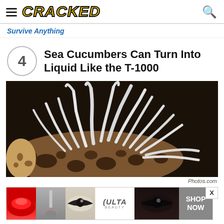CRACKED
Survive Anything
Sea Cucumbers Can Turn Into Liquid Like the T-1000
[Figure (photo): Close-up photograph of a sea cucumber on a rock, showing white tubular tentacles/organs splayed out on top of a brown mottled sea cucumber body against a dark background.]
Photos.com
[Figure (photo): ULTA beauty advertisement banner showing close-up images of lips with red lipstick, a makeup brush, eye makeup, the ULTA logo, more eye makeup, and a SHOP NOW button.]